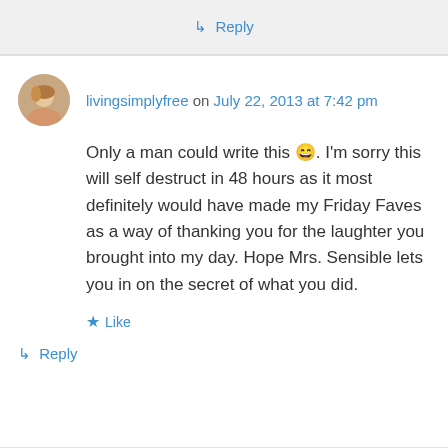↳ Reply
livingsimplyfree on July 22, 2013 at 7:42 pm
Only a man could write this 😄. I'm sorry this will self destruct in 48 hours as it most definitely would have made my Friday Faves as a way of thanking you for the laughter you brought into my day. Hope Mrs. Sensible lets you in on the secret of what you did.
★ Like
↳ Reply